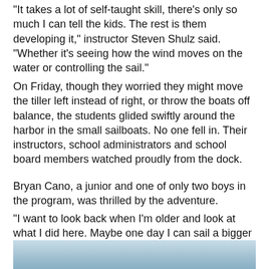"It takes a lot of self-taught skill, there's only so much I can tell the kids. The rest is them developing it," instructor Steven Shulz said. "Whether it's seeing how the wind moves on the water or controlling the sail."
On Friday, though they worried they might move the tiller left instead of right, or throw the boats off balance, the students glided swiftly around the harbor in the small sailboats. No one fell in. Their instructors, school administrators and school board members watched proudly from the dock.
Bryan Cano, a junior and one of only two boys in the program, was thrilled by the adventure.
"I want to look back when I'm older and look at what I did here. Maybe one day I can sail a bigger boat," he said. "It's just peaceful on the ocean."
[Figure (photo): Partial photo of sailboats or harbor scene visible at the bottom of the page.]